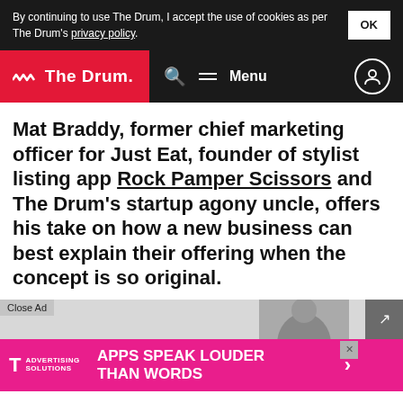By continuing to use The Drum, I accept the use of cookies as per The Drum's privacy policy. OK
The Drum — Search Menu
Mat Braddy, former chief marketing officer for Just Eat, founder of stylist listing app Rock Pamper Scissors and The Drum's startup agony uncle, offers his take on how a new business can best explain their offering when the concept is so original.
[Figure (screenshot): T-Mobile Advertising Solutions banner ad: APPS SPEAK LOUDER THAN WORDS, with Close Ad button and expand icon]